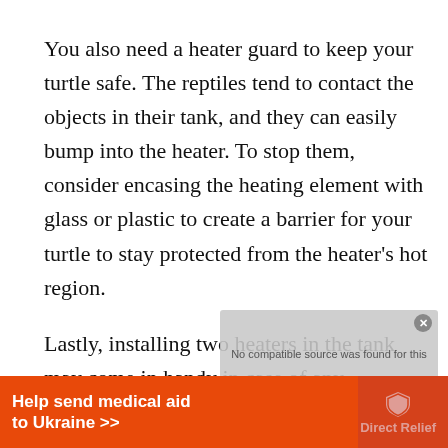You also need a heater guard to keep your turtle safe. The reptiles tend to contact the objects in their tank, and they can easily bump into the heater. To stop them, consider encasing the heating element with glass or plastic to create a barrier for your turtle to stay protected from the heater's hot region.
Lastly, installing two heaters in the tank may come in handy in case of any eventualities such as malfunctions. A broken appliance means that your turtle will remain in the cold, a disastrous situation in extreme cases like winter. Therefore, it is safe to have a standby heater. If you need 300 watts, you can purchase two 150 watt heaters instead such that...
[Figure (other): Video player overlay showing 'No compatible source was found for this' message in a gray semi-transparent popup with a close button]
[Figure (other): Orange advertisement banner for Direct Relief: 'Help send medical aid to Ukraine >>' with Direct Relief logo and shield icon, and a background photo]